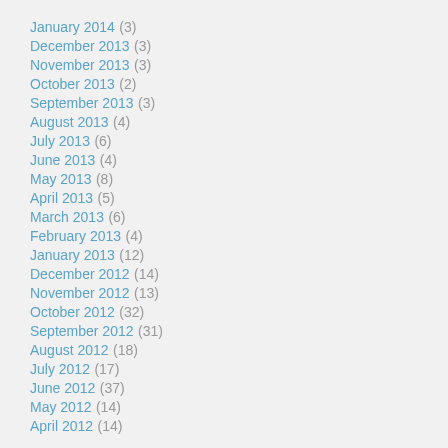January 2014 (3)
December 2013 (3)
November 2013 (3)
October 2013 (2)
September 2013 (3)
August 2013 (4)
July 2013 (6)
June 2013 (4)
May 2013 (8)
April 2013 (5)
March 2013 (6)
February 2013 (4)
January 2013 (12)
December 2012 (14)
November 2012 (13)
October 2012 (32)
September 2012 (31)
August 2012 (18)
July 2012 (17)
June 2012 (37)
May 2012 (14)
April 2012 (14)